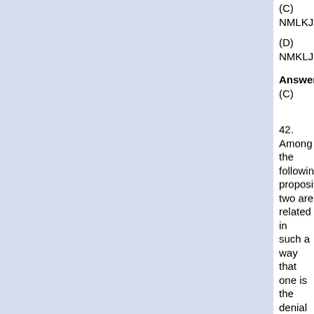(C)
NMLKJ
(D)
NMKLJ
Answer:
(C)
42. Among the following propositions, two are related in such a way that one is the denial of the other. Which are those